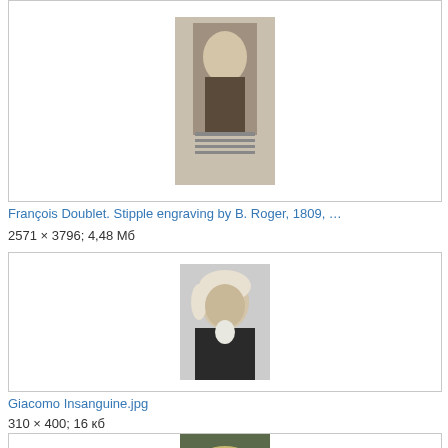[Figure (photo): Portrait engraving of François Doublet, stipple engraving by B. Roger, 1809]
François Doublet. Stipple engraving by B. Roger, 1809, …
2571 × 3796; 4,48 Мб
[Figure (photo): Black and white portrait of Giacomo Insanguine in profile]
Giacomo Insanguine.jpg
310 × 400; 16 кб
[Figure (photo): Portrait painting of a person, partially visible at bottom of page]